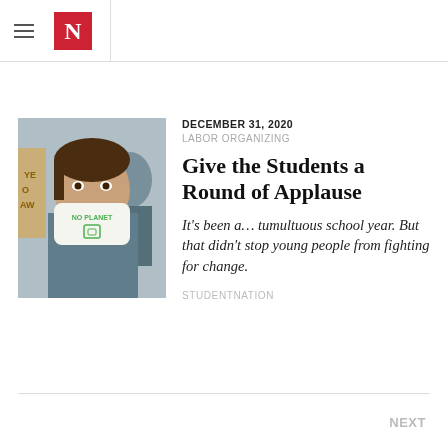N (The Nation logo)
[Figure (photo): A person wearing a white face mask with 'NO PLANET' printed in green text, at an outdoor protest. Another person visible in background.]
DECEMBER 31, 2020
LABOR ORGANIZING
Give the Students a Round of Applause
It's been a... tumultuous school year. But that didn't stop young people from fighting for change.
STUDENTNATION
NEXT